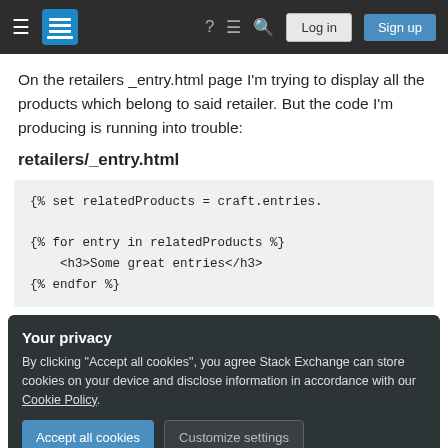Stack Exchange navigation bar with Log in and Sign up buttons
On the retailers _entry.html page I'm trying to display all the products which belong to said retailer. But the code I'm producing is running into trouble:
retailers/_entry.html
{% set relatedProducts = craft.entries.

{% for entry in relatedProducts %}
    <h3>Some great entries</h3>
{% endfor %}
Your privacy
By clicking "Accept all cookies", you agree Stack Exchange can store cookies on your device and disclose information in accordance with our Cookie Policy.
Accept all cookies    Customize settings
Share    asked Jun 26, 2017 at 15:54